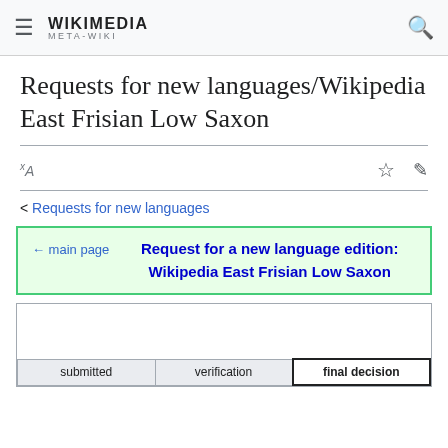WIKIMEDIA META-WIKI
Requests for new languages/Wikipedia East Frisian Low Saxon
< Requests for new languages
| ← main page | Request for a new language edition: Wikipedia East Frisian Low Saxon |
| --- | --- |
| submitted | verification | final decision |
| --- | --- | --- |